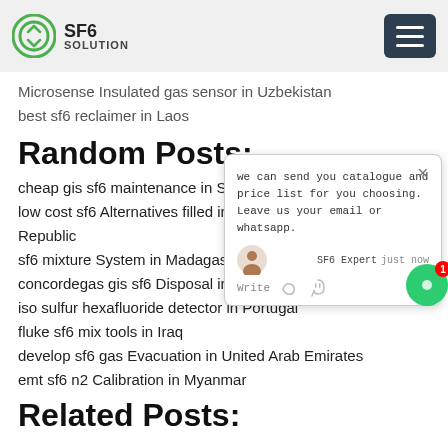SF6 SOLUTION
Microsense Insulated gas sensor in Uzbekistan
best sf6 reclaimer in Laos
Random Posts:
cheap gis sf6 maintenance in Switzerland
low cost sf6 Alternatives filled in Sahrawi Democratic Republic
sf6 mixture System in Madagascar
concordegas gis sf6 Disposal in Poland
iso sulfur hexafluoride detector in Portugal
fluke sf6 mix tools in Iraq
develop sf6 gas Evacuation in United Arab Emirates
emt sf6 n2 Calibration in Myanmar
Related Posts: